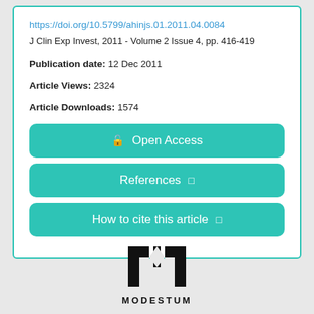https://doi.org/10.5799/ahinjs.01.2011.04.0084
J Clin Exp Invest, 2011 - Volume 2 Issue 4, pp. 416-419
Publication date: 12 Dec 2011
Article Views: 2324
Article Downloads: 1574
Open Access
References
How to cite this article
[Figure (logo): Modestum publisher logo - stylized M letter in black with MODESTUM text below]